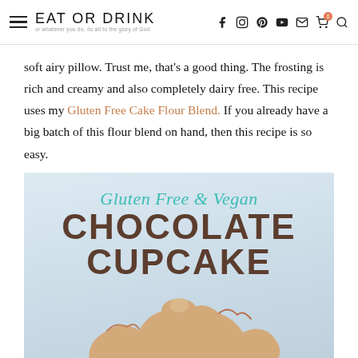EAT OR DRINK — or whatever you do, do all to the glory of God.
soft airy pillow. Trust me, that's a good thing. The frosting is rich and creamy and also completely dairy free. This recipe uses my Gluten Free Cake Flour Blend. If you already have a big batch of this flour blend on hand, then this recipe is so easy.
[Figure (photo): Gluten Free & Vegan Chocolate Cupcake promotional image with teal script title, large brown bold text, and chocolate frosting photo on light blue background]